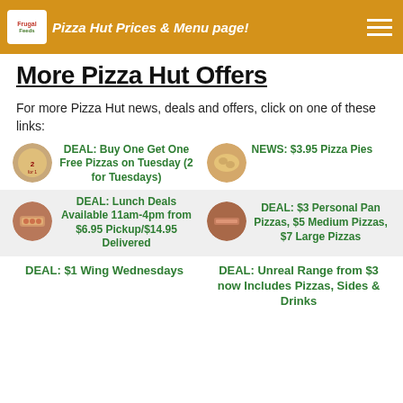Pizza Hut Prices & Menu page!
More Pizza Hut Offers
For more Pizza Hut news, deals and offers, click on one of these links:
DEAL: Buy One Get One Free Pizzas on Tuesday (2 for Tuesdays)
NEWS: $3.95 Pizza Pies
DEAL: Lunch Deals Available 11am-4pm from $6.95 Pickup/$14.95 Delivered
DEAL: $3 Personal Pan Pizzas, $5 Medium Pizzas, $7 Large Pizzas
DEAL: $1 Wing Wednesdays
DEAL: Unreal Range from $3 now Includes Pizzas, Sides & Drinks